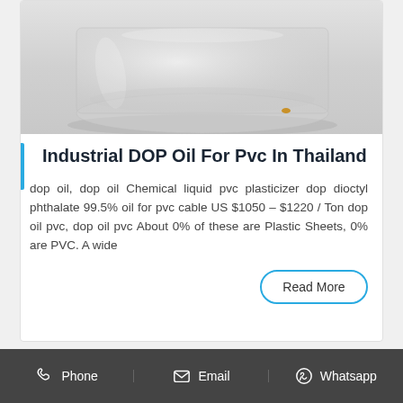[Figure (photo): Product photo showing the bottom portion of a clear glass bottle/jar with a transparent/white liquid, on a light gray background.]
Industrial DOP Oil For Pvc In Thailand
dop oil, dop oil Chemical liquid pvc plasticizer dop dioctyl phthalate 99.5% oil for pvc cable US $1050 – $1220 / Ton dop oil pvc, dop oil pvc About 0% of these are Plastic Sheets, 0% are PVC. A wide
Phone   Email   Whatsapp